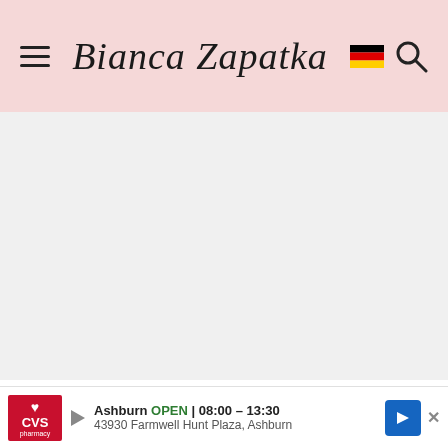Bianca Zapatka
[Figure (photo): Large food photograph area (blank/loading)]
Step 3: Making the fruit glaze.
Drain... to